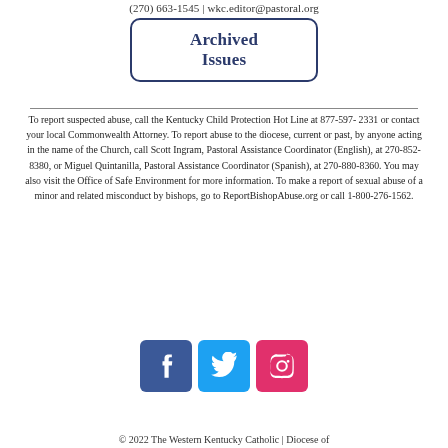(270) 663-1545 | wkc.editor@pastoral.org
Archived Issues
To report suspected abuse, call the Kentucky Child Protection Hot Line at 877-597-2331 or contact your local Commonwealth Attorney. To report abuse to the diocese, current or past, by anyone acting in the name of the Church, call Scott Ingram, Pastoral Assistance Coordinator (English), at 270-852-8380, or Miguel Quintanilla, Pastoral Assistance Coordinator (Spanish), at 270-880-8360. You may also visit the Office of Safe Environment for more information. To make a report of sexual abuse of a minor and related misconduct by bishops, go to ReportBishopAbuse.org or call 1-800-276-1562.
[Figure (illustration): Social media icons: Facebook (blue), Twitter (cyan), Instagram (pink/red)]
© 2022 The Western Kentucky Catholic | Diocese of